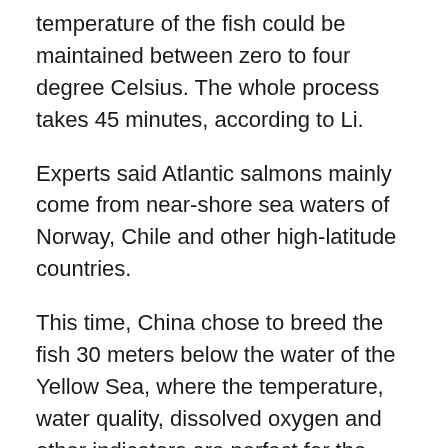temperature of the fish could be maintained between zero to four degree Celsius. The whole process takes 45 minutes, according to Li.
Experts said Atlantic salmons mainly come from near-shore sea waters of Norway, Chile and other high-latitude countries.
This time, China chose to breed the fish 30 meters below the water of the Yellow Sea, where the temperature, water quality, dissolved oxygen and other indicators are perfect for the Atlantic salmons to live.